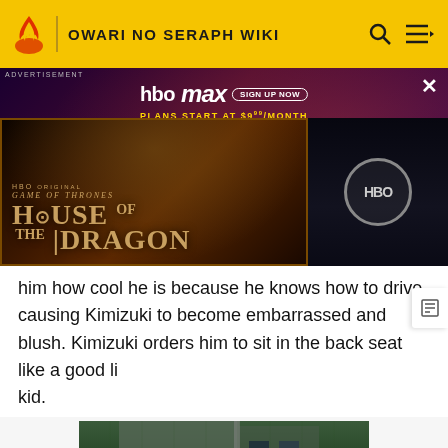OWARI NO SERAPH WIKI
[Figure (screenshot): HBO Max advertisement banner featuring House of the Dragon promo image, with Sign Up Now button and Plans Start At $9.99/month text]
him how cool he is because he knows how to drive, causing Kimizuki to become embarrassed and blush. Kimizuki orders him to sit in the back seat like a good lil kid.
[Figure (photo): Post-apocalyptic scene showing an abandoned building overgrown with vines and a dark vehicle in the foreground]